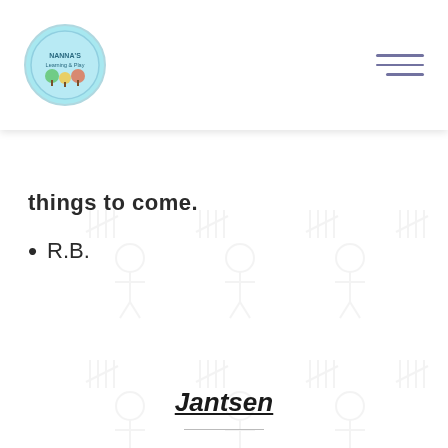[Figure (logo): Round light blue logo with cartoon characters and text]
things to come.
R.B.
Jantsen